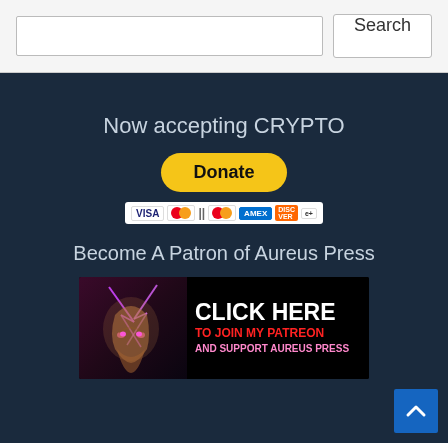[Figure (screenshot): Search bar with text input field and Search button]
Now accepting CRYPTO
[Figure (other): PayPal Donate button with payment method icons (Visa, Mastercard, Amex, Discover)]
Become A Patron of Aureus Press
[Figure (infographic): Patreon banner with Zeus statue image with lightning bolts and text: CLICK HERE TO JOIN MY PATREON AND SUPPORT AUREUS PRESS]
[Figure (other): Back to top button (blue square with white up arrow)]